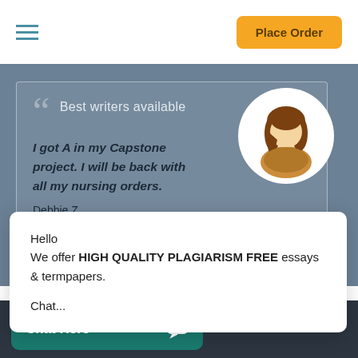Place Order
[Figure (screenshot): Testimonial section with grey background showing a quote 'Best writers available' with text 'I got A in my Capstone project. I will be back with all my nursing orders.' attributed to Debbie Z, with female avatar illustration on right and close X button]
Hello
We offer HIGH QUALITY PLAGIARISM FREE essays & termpapers.

Chat...
Chat Here